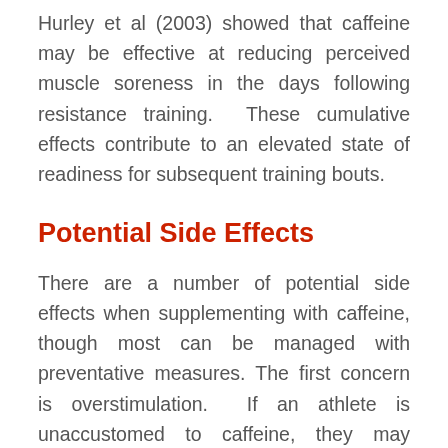Hurley et al (2003) showed that caffeine may be effective at reducing perceived muscle soreness in the days following resistance training. These cumulative effects contribute to an elevated state of readiness for subsequent training bouts.
Potential Side Effects
There are a number of potential side effects when supplementing with caffeine, though most can be managed with preventative measures. The first concern is overstimulation. If an athlete is unaccustomed to caffeine, they may experience symptoms such as anxiety, restlessness and